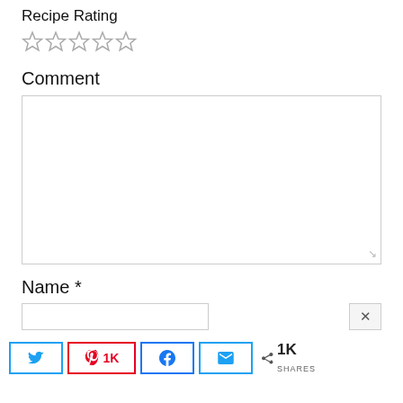Recipe Rating
[Figure (other): Five empty star rating icons]
Comment
[Figure (other): Empty comment text area input box]
Name *
[Figure (other): Name input field with X close button]
[Figure (other): Social share bar with Twitter, Pinterest (1K), Facebook, Email buttons and 1K SHARES count]